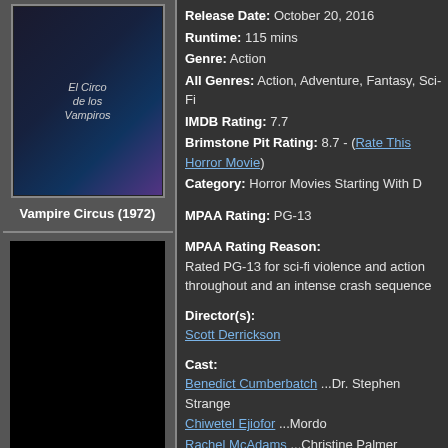[Figure (photo): Movie poster for Vampire Circus (1972) - dark themed poster with text 'El Circo de los Vampiros']
Vampire Circus (1972)
[Figure (photo): Black rectangle - additional image area]
Release Date: October 20, 2016
Runtime: 115 mins
Genre: Action
All Genres: Action, Adventure, Fantasy, Sci-Fi
IMDB Rating: 7.7
Brimstone Pit Rating: 8.7 - (Rate This Horror Movie)
Category: Horror Movies Starting With D
MPAA Rating: PG-13
MPAA Rating Reason:
Rated PG-13 for sci-fi violence and action throughout and an intense crash sequence
Director(s):
Scott Derrickson
Cast:
Benedict Cumberbatch ...Dr. Stephen Strange
Chiwetel Ejiofor ...Mordo
Rachel McAdams ...Christine Palmer
Benedict Wong ...Wong
Mads Mikkelsen ...Kaecilius
Tilda Swinton ...The Ancient One
Michael Stuhlbarg ...Dr. Nicodemus West
Benjamin Bratt ...Jonathan Pangborn
Scott Adkins ...Lucian / Strong Zealot
Zara Phythian ...Brunette Zealot
Alaa Safi ...Tall Zealot
Katrina Durden ...Blonde Zealot
Topo Wresniwiro ...Hamir